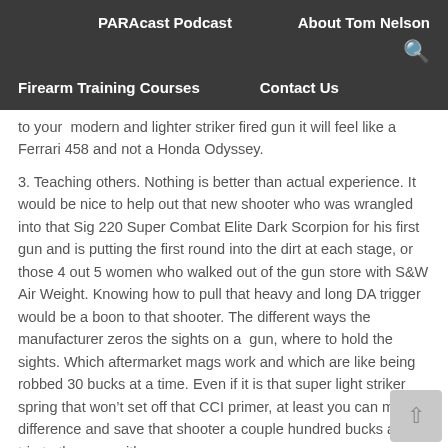PARAcast Podcast   About Tom Nelson
Firearm Training Courses   Contact Us
to your  modern and lighter striker fired gun it will feel like a Ferrari 458 and not a Honda Odyssey.
3. Teaching others. Nothing is better than actual experience. It would be nice to help out that new shooter who was wrangled into that Sig 220 Super Combat Elite Dark Scorpion for his first gun and is putting the first round into the dirt at each stage, or those 4 out 5 women who walked out of the gun store with S&W Air Weight. Knowing how to pull that heavy and long DA trigger would be a boon to that shooter. The different ways the manufacturer zeros the sights on a  gun, where to hold the sights. Which aftermarket mags work and which are like being robbed 30 bucks at a time. Even if it is that super light striker spring that won't set off that CCI primer, at least you can make difference and save that shooter a couple hundred bucks and a trip to the gunsmith.